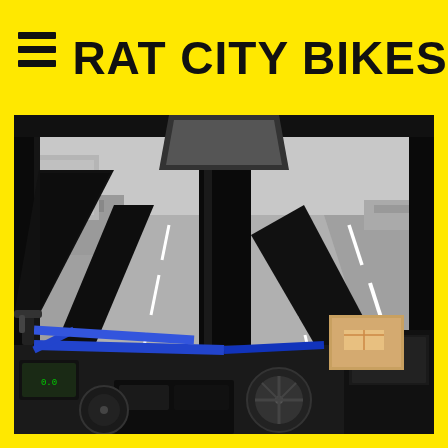RAT CITY BIKES
[Figure (photo): View from inside a vehicle or bus looking out through the windshield at an empty multi-lane highway. In the foreground, various vehicle interior elements are visible including a blue bicycle frame, handlebars, fans, equipment panels, and dashboard controls. Black structural pillars frame the view. The road ahead is gray with white lane markings, with guardrails and urban structures visible on both sides.]